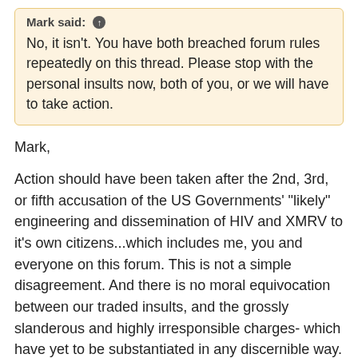Mark said: ↑
No, it isn't. You have both breached forum rules repeatedly on this thread. Please stop with the personal insults now, both of you, or we will have to take action.
Mark,
Action should have been taken after the 2nd, 3rd, or fifth accusation of the US Governments' "likely" engineering and dissemination of HIV and XMRV to it's own citizens...which includes me, you and everyone on this forum. This is not a simple disagreement. And there is no moral equivocation between our traded insults, and the grossly slanderous and highly irresponsible charges- which have yet to be substantiated in any discernible way.
You must understand that when comments like that are allowed to fly- things will get nasty. I come here for factual information and updates regarding my health. Not to hear groundless speculations that the Government gave me CFS